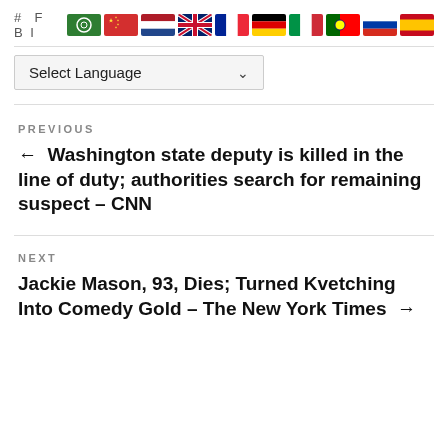# FBI
[Figure (illustration): Row of country flag icons: Arabic/Saudi, China, Netherlands, UK, France, Germany, Italy, Portugal, Russia, Spain]
[Figure (screenshot): Select Language dropdown widget]
PREVIOUS
← Washington state deputy is killed in the line of duty; authorities search for remaining suspect – CNN
NEXT
Jackie Mason, 93, Dies; Turned Kvetching Into Comedy Gold – The New York Times →